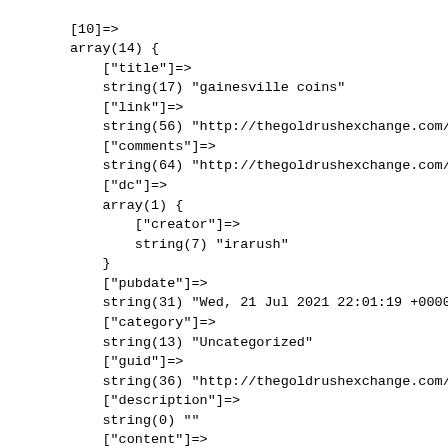[10]=>
array(14) {
    ["title"]=>
    string(17) "gainesville coins"
    ["link"]=>
    string(56) "http://thegoldrushexchange.com/gainesvi
    ["comments"]=>
    string(64) "http://thegoldrushexchange.com/gainesvi
    ["dc"]=>
    array(1) {
        ["creator"]=>
        string(7) "irarush"
    }
    ["pubdate"]=>
    string(31) "Wed, 21 Jul 2021 22:01:19 +0000"
    ["category"]=>
    string(13) "Uncategorized"
    ["guid"]=>
    string(36) "http://thegoldrushexchange.com/?p=56"
    ["description"]=>
    string(0) ""
    ["content"]=>
    array(1) {
        ["encoded"]=>
        string(0) ""
    }
    ["wfw"]=>
    array(1) {
        ["commentrss"]=>
        string(61) "http://thegoldrushexchange.com/gaines